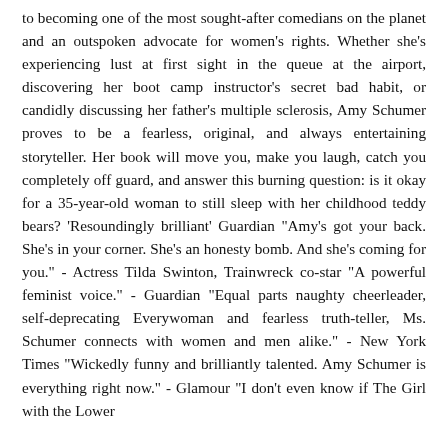to becoming one of the most sought-after comedians on the planet and an outspoken advocate for women's rights. Whether she's experiencing lust at first sight in the queue at the airport, discovering her boot camp instructor's secret bad habit, or candidly discussing her father's multiple sclerosis, Amy Schumer proves to be a fearless, original, and always entertaining storyteller. Her book will move you, make you laugh, catch you completely off guard, and answer this burning question: is it okay for a 35-year-old woman to still sleep with her childhood teddy bears? 'Resoundingly brilliant' Guardian "Amy's got your back. She's in your corner. She's an honesty bomb. And she's coming for you." - Actress Tilda Swinton, Trainwreck co-star "A powerful feminist voice." - Guardian "Equal parts naughty cheerleader, self-deprecating Everywoman and fearless truth-teller, Ms. Schumer connects with women and men alike." - New York Times "Wickedly funny and brilliantly talented. Amy Schumer is everything right now." - Glamour "I don't even know if The Girl with the Lower